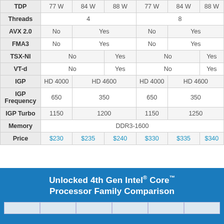|  | Col1 | Col2 | Col3 | Col4 | Col5 | Col6 |
| --- | --- | --- | --- | --- | --- | --- |
| TDP | 77 W | 84 W | 88 W | 77 W | 84 W | 88 W |
| Threads | 4 |  |  | 8 |  |  |
| AVX 2.0 | No | Yes |  | No | Yes |  |
| FMA3 | No | Yes |  | No | Yes |  |
| TSX-NI | No |  | Yes | No |  | Yes |
| VT-d | No |  | Yes | No |  | Yes |
| IGP | HD 4000 | HD 4600 |  | HD 4000 | HD 4600 |  |
| IGP Frequency | 650 | 350 |  | 650 | 350 |  |
| IGP Turbo | 1150 | 1200 |  | 1150 | 1250 |  |
| Memory | DDR3-1600 |  |  |  |  |  |
| Price | $230 | $235 | $240 | $330 | $335 | $340 |
[Figure (infographic): Blue banner reading 'Unlocked 4th Gen Intel® Core™ Processor Family Comparison' with a partial table row visible at the bottom]